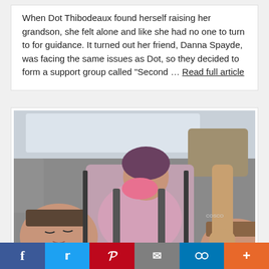When Dot Thibodeaux found herself raising her grandson, she felt alone and like she had no one to turn to for guidance. It turned out her friend, Danna Spayde, was facing the same issues as Dot, so they decided to form a support group called "Second … Read full article
[Figure (photo): Photo of children in car seats inside a vehicle, showing a young boy on the left, a child in a car seat in the middle, and another child on the right, with an adult's arm visible.]
Social share bar: Facebook, Twitter, Pinterest, Email, Link, More